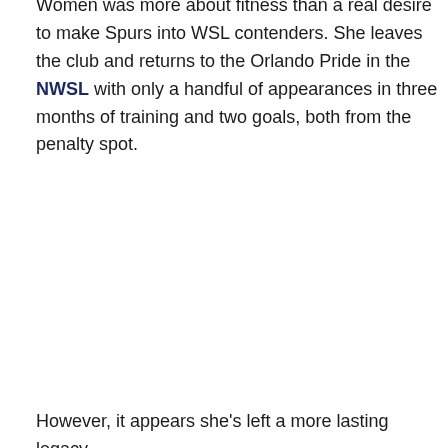Women was more about fitness than a real desire to make Spurs into WSL contenders. She leaves the club and returns to the Orlando Pride in the NWSL with only a handful of appearances in three months of training and two goals, both from the penalty spot.
However, it appears she's left a more lasting legacy